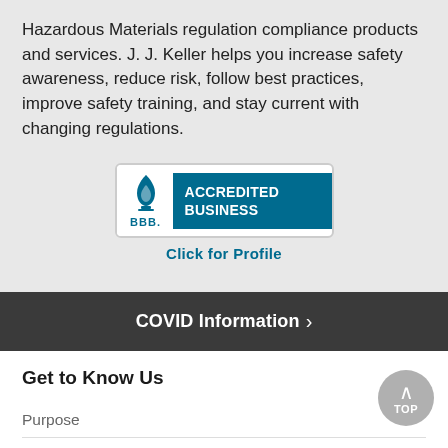Hazardous Materials regulation compliance products and services. J. J. Keller helps you increase safety awareness, reduce risk, follow best practices, improve safety training, and stay current with changing regulations.
[Figure (logo): BBB Accredited Business badge with flame logo on left and 'ACCREDITED BUSINESS' text on right teal panel, with 'Click for Profile' link below]
COVID Information >
Get to Know Us
Purpose
Our Story